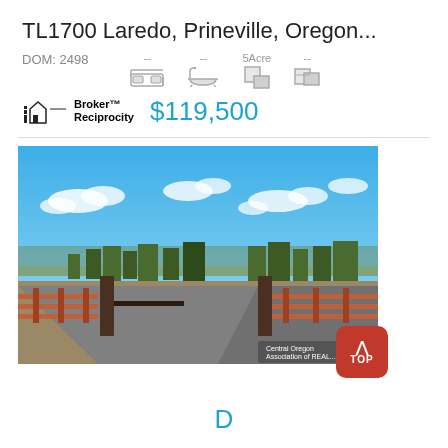TL1700 Laredo, Prineville, Oregon...
DOM: 2498  --  --  5Acre  --
[Figure (logo): Broker Reciprocity logo with house icon]
$119,500
[Figure (photo): Outdoor photo of a gated driveway entrance with wooden fence posts, paved road, evergreen trees, and blue sky with white clouds in Prineville, Oregon]